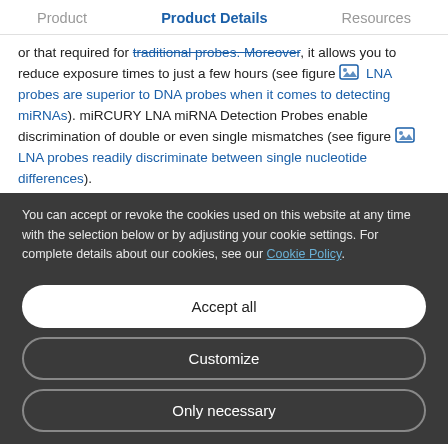Product | Product Details | Resources
or that required for traditional probes. Moreover, it allows you to reduce exposure times to just a few hours (see figure [icon] LNA probes are superior to DNA probes when it comes to detecting miRNAs). miRCURY LNA miRNA Detection Probes enable discrimination of double or even single mismatches (see figure [icon] LNA probes readily discriminate between single nucleotide differences).
You can accept or revoke the cookies used on this website at any time with the selection below or by adjusting your cookie settings. For complete details about our cookies, see our Cookie Policy.
Accept all
Customize
Only necessary